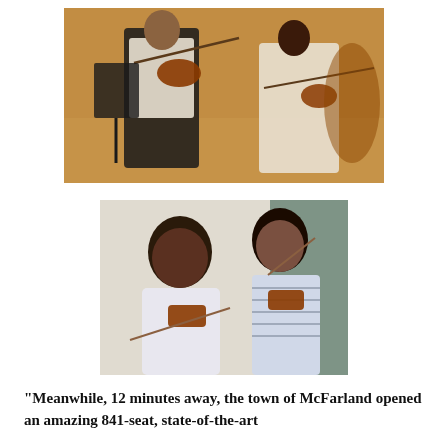[Figure (photo): Two young musicians playing violins in a concert hall setting. A boy in a white shirt and vest plays violin in the foreground while a girl in white plays violin in the background near a music stand.]
[Figure (photo): Two young girls smiling and holding violins, appearing to be at an indoor event. One girl wears white clothing and the other wears a striped shirt.]
“Meanwhile, 12 minutes away, the town of McFarland opened an amazing 841-seat, state-of-the-art